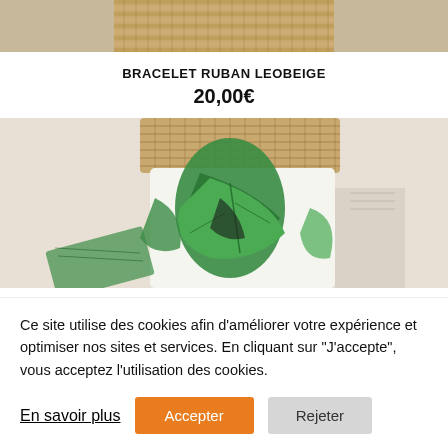[Figure (photo): Top portion of a woven straw/basket weave bracelet on a light background]
BRACELET RUBAN LEOBEIGE
20,00€
[Figure (photo): Photo of a cylindrical object with tropical green leaf pattern (monstera/palm leaves in white and green) with a woven straw basket on top, displayed against a light beige background]
Ce site utilise des cookies afin d'améliorer votre expérience et optimiser nos sites et services. En cliquant sur "J'accepte", vous acceptez l'utilisation des cookies.
En savoir plus
Accepter
Rejeter